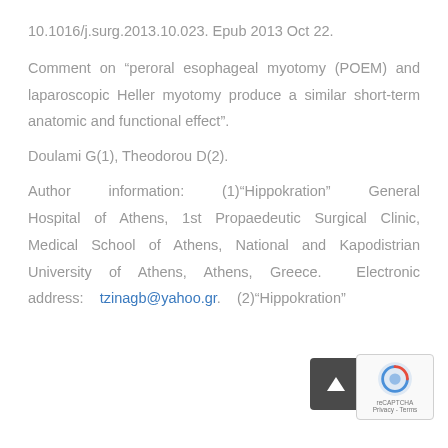10.1016/j.surg.2013.10.023. Epub 2013 Oct 22.
Comment on “peroral esophageal myotomy (POEM) and laparoscopic Heller myotomy produce a similar short-term anatomic and functional effect”.
Doulami G(1), Theodorou D(2).
Author information: (1)“Hippokration” General Hospital of Athens, 1st Propaedeutic Surgical Clinic, Medical School of Athens, National and Kapodistrian University of Athens, Athens, Greece. Electronic address: tzinagb@yahoo.gr. (2)“Hippokration”